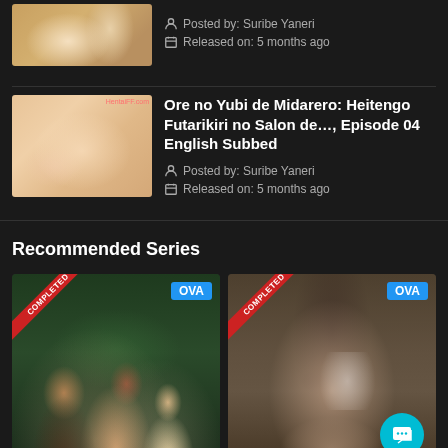[Figure (screenshot): Anime thumbnail image (top listing item)]
Posted by: Suribe Yaneri
Released on: 5 months ago
[Figure (screenshot): Anime thumbnail for Ore no Yubi de Midarero episode]
Ore no Yubi de Midarero: Heitengo Futarikiri no Salon de…, Episode 04 English Subbed
Posted by: Suribe Yaneri
Released on: 5 months ago
Recommended Series
[Figure (illustration): Anime series card with COMPLETED ribbon and OVA badge, left card]
[Figure (illustration): Anime series card with COMPLETED ribbon and OVA badge, right card]